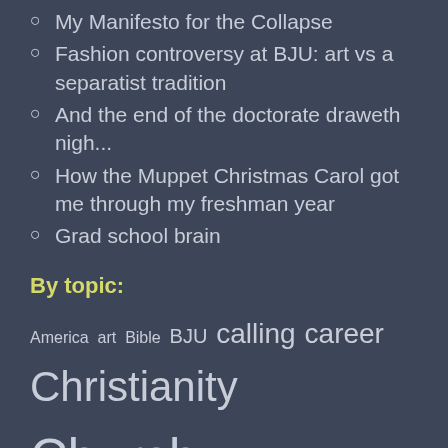My Manifesto for the Collapse
Fashion controversy at BJU: art vs a separatist tradition
And the end of the doctorate draweth nigh...
How the Muppet Christmas Carol got me through my freshman year
Grad school brain
By topic:
America art Bible BJU calling career Christianity Church coffee concerts death doubt economics education Evangelicalism evil faith family fantasy